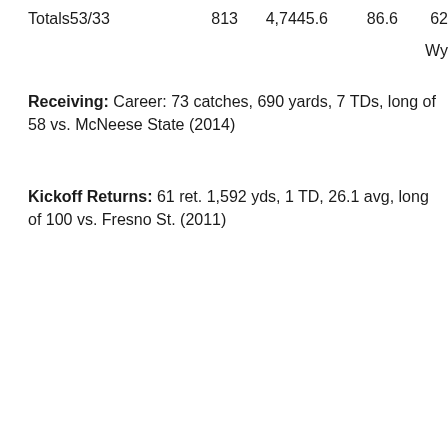| Totals53/33 | 813 | 4,7445.6 | 86.6 | 62 | Wy |
Receiving: Career: 73 catches, 690 yards, 7 TDs, long of 58 vs. McNeese State (2014)
Kickoff Returns: 61 ret. 1,592 yds, 1 TD, 26.1 avg, long of 100 vs. Fresno St. (2011)